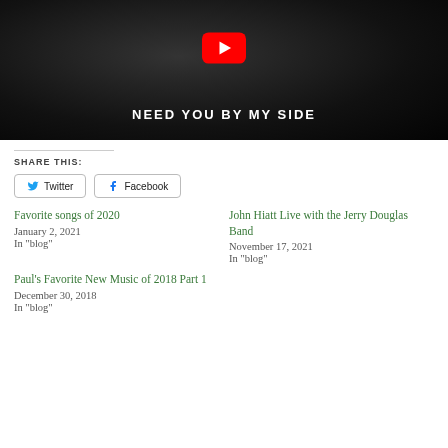[Figure (screenshot): YouTube video thumbnail showing a black and white image of a person with the text 'NEED YOU BY MY SIDE' and a YouTube play button overlay]
SHARE THIS:
Twitter  Facebook
Favorite songs of 2020
January 2, 2021
In "blog"
John Hiatt Live with the Jerry Douglas Band
November 17, 2021
In "blog"
Paul's Favorite New Music of 2018 Part 1
December 30, 2018
In "blog"